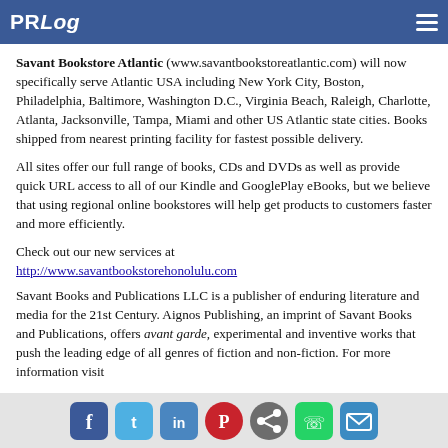PRLog
Savant Bookstore Atlantic (www.savantbookstoreatlantic.com) will now specifically serve Atlantic USA including New York City, Boston, Philadelphia, Baltimore, Washington D.C., Virginia Beach, Raleigh, Charlotte, Atlanta, Jacksonville, Tampa, Miami and other US Atlantic state cities. Books shipped from nearest printing facility for fastest possible delivery.
All sites offer our full range of books, CDs and DVDs as well as provide quick URL access to all of our Kindle and GooglePlay eBooks, but we believe that using regional online bookstores will help get products to customers faster and more efficiently.
Check out our new services at http://www.savantbookstorehonolulu.com
Savant Books and Publications LLC is a publisher of enduring literature and media for the 21st Century. Aignos Publishing, an imprint of Savant Books and Publications, offers avant garde, experimental and inventive works that push the leading edge of all genres of fiction and non-fiction. For more information visit
Social share icons: Facebook, Twitter, LinkedIn, Pinterest, Share, WhatsApp, Email